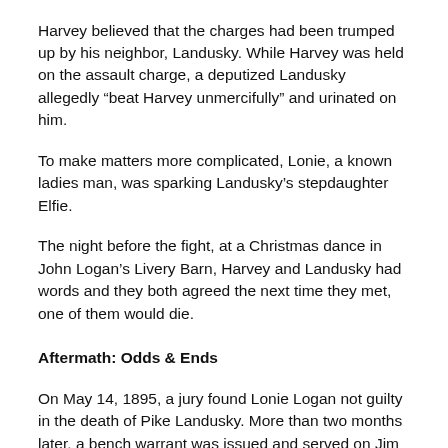Harvey believed that the charges had been trumped up by his neighbor, Landusky. While Harvey was held on the assault charge, a deputized Landusky allegedly “beat Harvey unmercifully” and urinated on him.
To make matters more complicated, Lonie, a known ladies man, was sparking Landusky’s stepdaughter Elfie.
The night before the fight, at a Christmas dance in John Logan’s Livery Barn, Harvey and Landusky had words and they both agreed the next time they met, one of them would die.
Aftermath: Odds & Ends
On May 14, 1895, a jury found Lonie Logan not guilty in the death of Pike Landusky. More than two months later, a bench warrant was issued and served on Jim Thornhill. His case was dismissed without trial on December 2. However, “Wild Geese” to use the local term for outlaws,